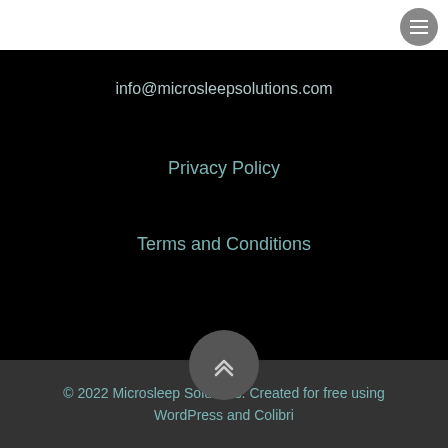[Figure (other): Hamburger menu icon button — circular grey button with three horizontal white lines, positioned top-right]
info@microsleepsolutions.com
Privacy Policy
Terms and Conditions
[Figure (other): Scroll-to-top button — circular dark grey button with a double chevron up arrow icon]
© 2022 Microsleep Solutions. Created for free using WordPress and Colibri